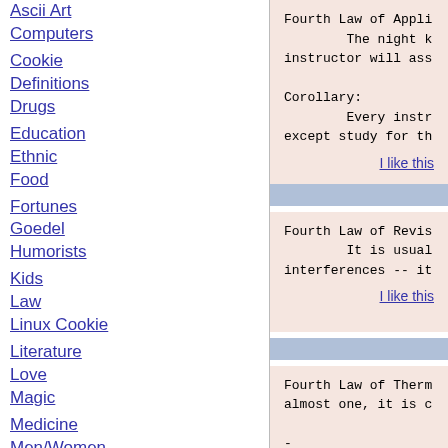Ascii Art
Computers
Cookie
Definitions
Drugs
Education
Ethnic
Food
Fortunes
Goedel
Humorists
Kids
Law
Linux Cookie
Literature
Love
Magic
Medicine
Men/Women
Miscellaneous
Ms-Fortunes
News
People
Fourth Law of Appli...
        The night ...
instructor will ass...
Corollary:
        Every instr...
except study for th...
I like this
Fourth Law of Revis...
        It is usual...
interferences -- it...
I like this
Fourth Law of Therm...
almost one, it is c...
--